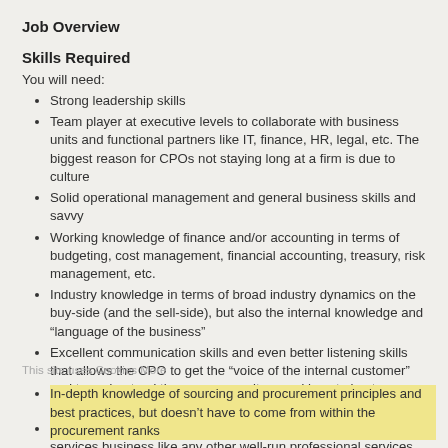Job Overview
Skills Required
You will need:
Strong leadership skills
Team player at executive levels to collaborate with business units and functional partners like IT, finance, HR, legal, etc. The biggest reason for CPOs not staying long at a firm is due to culture
Solid operational management and general business skills and savvy
Working knowledge of finance and/or accounting in terms of budgeting, cost management, financial accounting, treasury, risk management, etc.
Industry knowledge in terms of broad industry dynamics on the buy-side (and the sell-side), but also the internal knowledge and “language of the business”
Excellent communication skills and even better listening skills that allows the CPO to get the “voice of the internal customer” and to understand the company culture and how to best communicate procurement’s value to it
Ability to “sell” procurement’s value and to run procurement as a services business like any other well-run professional services business
In-depth knowledge of sourcing and procurement principles and best practices, but doesn’t have to come from within the procurement ranks